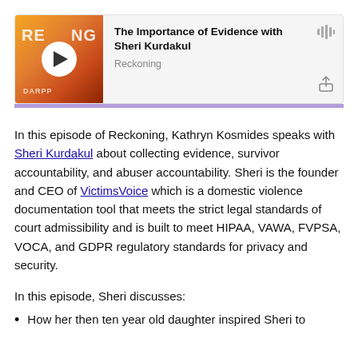[Figure (screenshot): Podcast player card showing 'The Importance of Evidence with Sheri Kurdakul' from the Reckoning podcast, with a play button, waveform icon, and share icon, overlaid on an orange gradient thumbnail with text RE...NG and DARPP]
In this episode of Reckoning, Kathryn Kosmides speaks with Sheri Kurdakul about collecting evidence, survivor accountability, and abuser accountability. Sheri is the founder and CEO of VictimsVoice which is a domestic violence documentation tool that meets the strict legal standards of court admissibility and is built to meet HIPAA, VAWA, FVPSA, VOCA, and GDPR regulatory standards for privacy and security.
In this episode, Sheri discusses:
How her then ten year old daughter inspired Sheri to